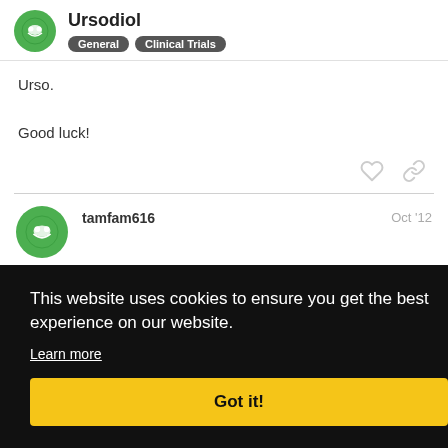Ursodiol — General, Clinical Trials
Urso.

Good luck!
tamfam616 — Oct '12
This website uses cookies to ensure you get the best experience on our website. Learn more
Got it!